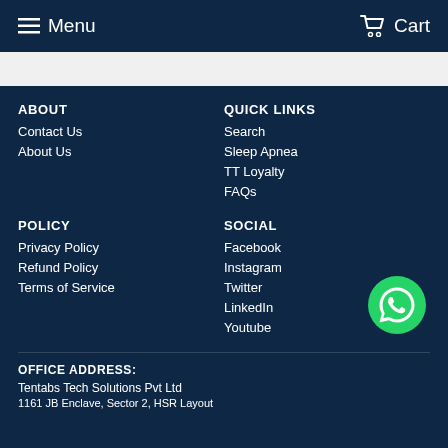Menu   Cart
ABOUT
Contact Us
About Us
QUICK LINKS
Search
Sleep Apnea
TT Loyalty
FAQs
POLICY
Privacy Policy
Refund Policy
Terms of Service
SOCIAL
Facebook
Instagram
Twitter
LinkedIn
Youtube
[Figure (logo): WhatsApp green circle button icon]
OFFICE ADDRESS:
Tentabs Tech Solutions Pvt Ltd
1161 JB Enclave, Sector 2, HSR Layout